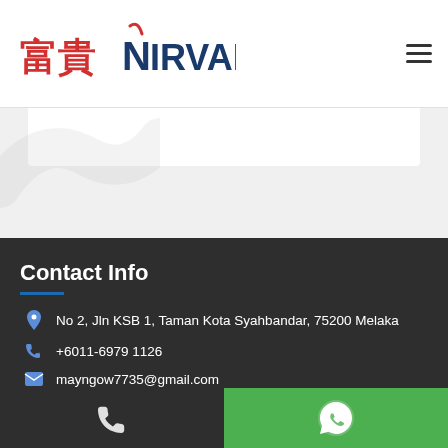[Figure (logo): Nirvana company logo with Chinese characters 富貴 and stylized N with red checkmark]
[Figure (illustration): Hamburger menu icon (three horizontal lines)]
Contact Info
No 2, Jln KSB 1, Taman Kota Syahbandar, 75200 Melaka
+6011-6979 1126
mayngow7735@gmail.com
nvnirvana-malaysia.com
[Figure (illustration): Social media icons: Facebook (blue circle with f), Google Maps (G icon), and a chat/waze icon (teal rounded square)]
[Figure (illustration): Phone call icon on dark background (bottom bar left)]
[Figure (illustration): WhatsApp icon on green background (bottom bar right)]